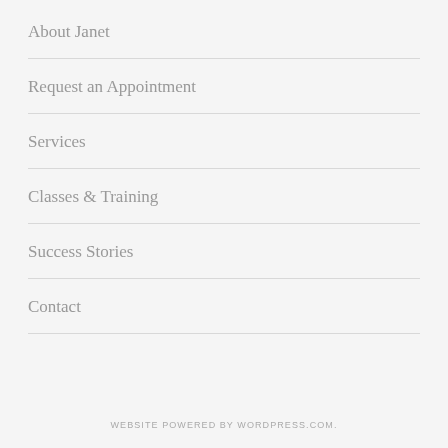About Janet
Request an Appointment
Services
Classes & Training
Success Stories
Contact
WEBSITE POWERED BY WORDPRESS.COM.